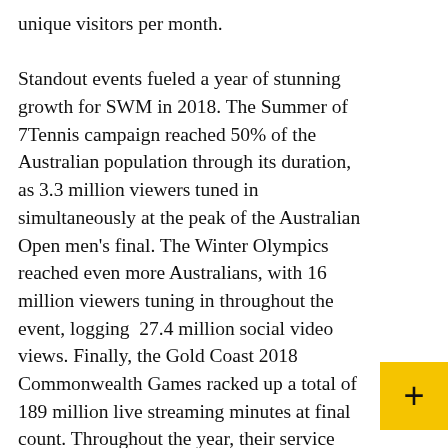unique visitors per month.

Standout events fueled a year of stunning growth for SWM in 2018. The Summer of 7Tennis campaign reached 50% of the Australian population through its duration, as 3.3 million viewers tuned in simultaneously at the peak of the Australian Open men's final. The Winter Olympics reached even more Australians, with 16 million viewers tuning in throughout the event, logging 27.4 million social video views. Finally, the Gold Coast 2018 Commonwealth Games racked up a total of 189 million live streaming minutes at final count. Throughout the year, their service handled these extreme traffic loads without viewability issues, thanks to the robust capabilities of the Brightcove platform.